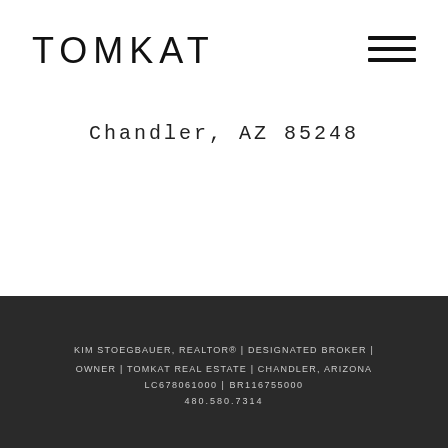TOMKAT
Chandler, AZ 85248
KIM STOEGBAUER, REALTOR® | DESIGNATED BROKER | OWNER | TOMKAT REAL ESTATE | CHANDLER, ARIZONA LC678061000 | BR116755000 480.580.7314